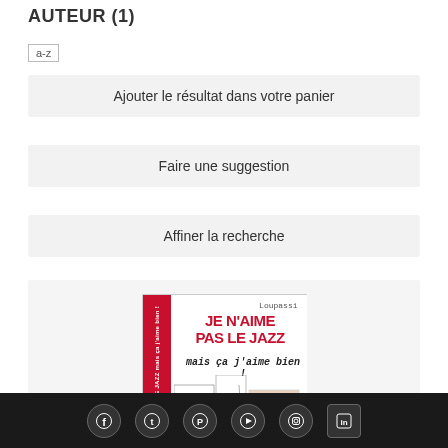AUTEUR (1)
a-z
Ajouter le résultat dans votre panier
Faire une suggestion
Affiner la recherche
[Figure (illustration): Book cover of 'Je n'aime pas le jazz mais ça j'aime bien!' showing a city building sketch illustration with red title text]
enregistrement sonore musical
JE N'AIME TOUJOURS PAS LE JAZZ MAIS ÇA
Social media icons: Facebook, Twitter, Pinterest, YouTube, Instagram, LinkedIn